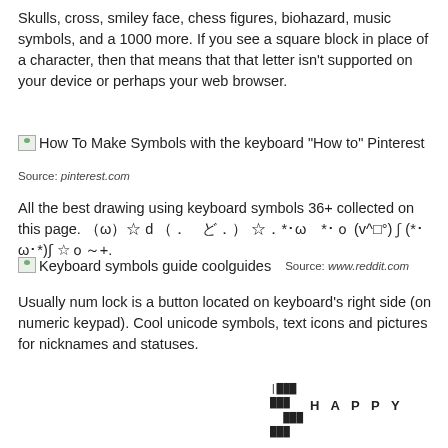Skulls, cross, smiley face, chess figures, biohazard, music symbols, and a 1000 more. If you see a square block in place of a character, then that means that that letter isn't supported on your device or perhaps your web browser.
[Figure (illustration): Broken image placeholder followed by text: How To Make Symbols with the keyboard "How to" Pinterest]
Source: pinterest.com
All the best drawing using keyboard symbols 36+ collected on this page. （ωﾉ)☆ d (｡◕д◕) ☆｡*･ωт*ﾟﾘ (v^□°) ʃ (*･ω･*)ʃ ☆ﾟﾘ+.
[Figure (illustration): Broken image placeholder followed by text: Keyboard symbols guide coolguides   Source: www.reddit.com]
Usually num lock is a button located on keyboard's right side (on numeric keypad). Cool unicode symbols, text icons and pictures for nicknames and statuses.
[Figure (illustration): ASCII art text art at bottom of page with grid blocks and the word HAPPY spelled out]
H A P P Y